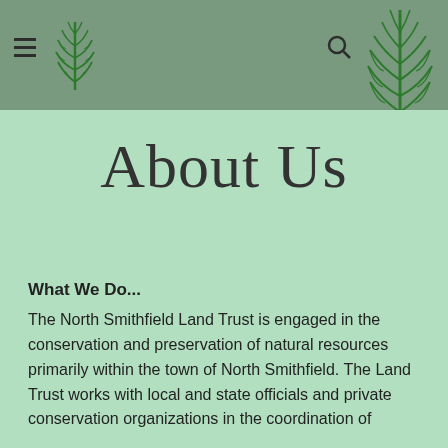North Smithfield Land Trust — About Us page header with hamburger menu, fern logo, and search icon
About Us
What We Do...
The North Smithfield Land Trust is engaged in the conservation and preservation of natural resources primarily within the town of North Smithfield. The Land Trust works with local and state officials and private conservation organizations in the coordination of